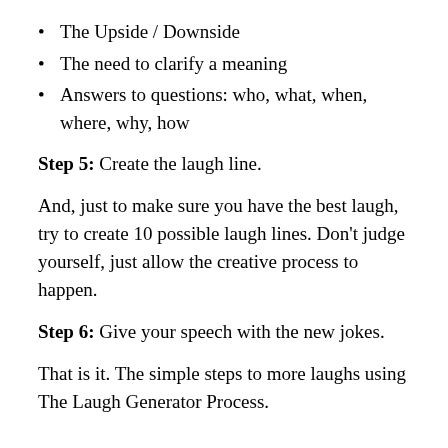The Upside / Downside
The need to clarify a meaning
Answers to questions: who, what, when, where, why, how
Step 5: Create the laugh line.
And, just to make sure you have the best laugh, try to create 10 possible laugh lines. Don't judge yourself, just allow the creative process to happen.
Step 6: Give your speech with the new jokes.
That is it. The simple steps to more laughs using The Laugh Generator Process.